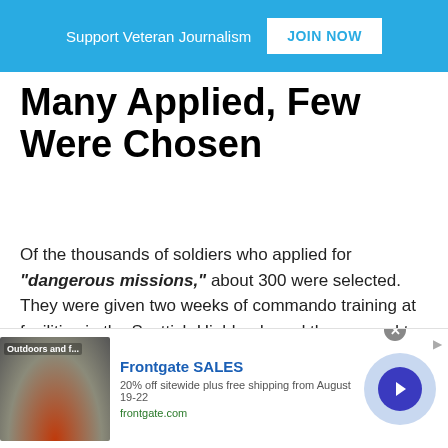Support Veteran Journalism  JOIN NOW
Many Applied, Few Were Chosen
Of the thousands of soldiers who applied for “dangerous missions,” about 300 were selected. They were given two weeks of commando training at facilities in the Scottish Highlands and then moved to Milton Hall, near Peterborough, England, closer to the airfields from which they would be launched and to British SAS headquarters. At Milton Hall, they received intensive training in hand-to-hand combat and sabotage techniques.
[Figure (screenshot): Advertisement banner for Frontgate SALES: 20% off sitewide plus free shipping from August 19-22, frontgate.com. Shows outdoor furniture image on left, ad text in center, and a circular button with right arrow on right.]